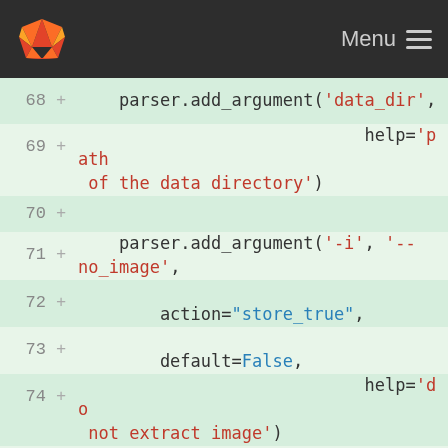Menu
[Figure (screenshot): GitLab diff view showing Python code lines 68-79 adding parser arguments for data_dir, -i/--no_image, and -p/--positions with action='store_true', default=False, and help strings.]